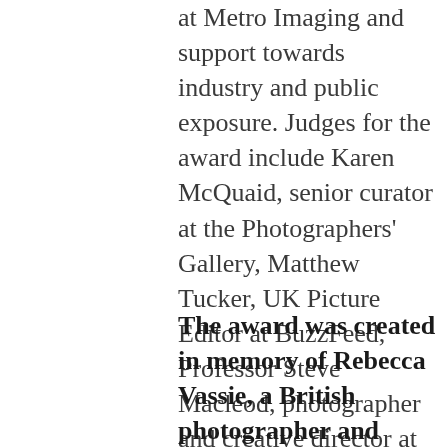at Metro Imaging and support towards industry and public exposure. Judges for the award include Karen McQuaid, senior curator at the Photographers' Gallery, Matthew Tucker, UK Picture Editor at BuzzFeed, Professor Steve Macleod, photographer and creative director at Metro Imaging, and photography critic Jennifer Thatcher (Art Monthly, ARTnews).
The award was created in memory of Rebecca Vassie, a British photographer and photojournalist who died suddenly, aged 30, while on assignment in Uganda in March